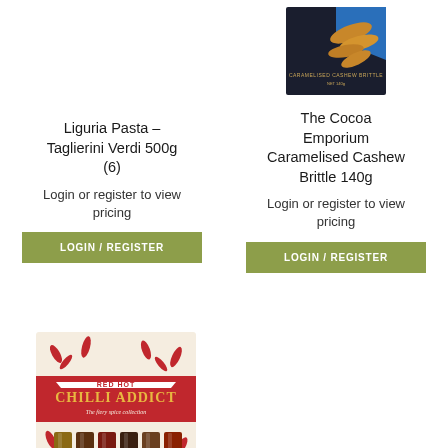[Figure (photo): Product image of The Cocoa Emporium Caramelised Cashew Brittle 140g box — dark navy/black box with blue accent stripe and cashew brittle pieces visible]
Liguria Pasta – Taglierini Verdi 500g (6)
The Cocoa Emporium Caramelised Cashew Brittle 140g
Login or register to view pricing
Login or register to view pricing
LOGIN / REGISTER
LOGIN / REGISTER
[Figure (photo): Product image of Red Hot Chilli Addict spice collection gift box — beige box with red chilli pepper illustrations and red label reading RED HOT CHILLI ADDICT The fiery spice collection, with spice tubes visible]